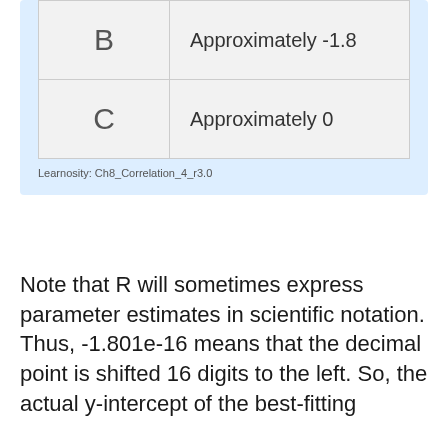|  |  |
| --- | --- |
| B | Approximately -1.8 |
| C | Approximately 0 |
Learnosity: Ch8_Correlation_4_r3.0
Note that R will sometimes express parameter estimates in scientific notation. Thus, -1.801e-16 means that the decimal point is shifted 16 digits to the left. So, the actual y-intercept of the best-fitting